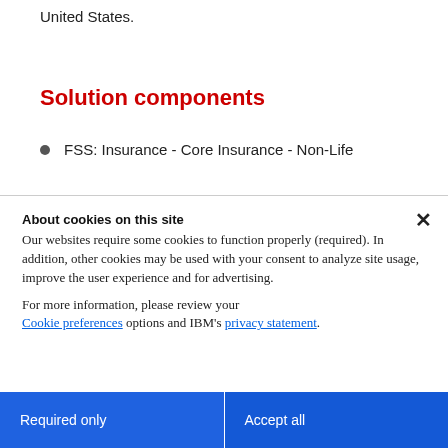United States.
Solution components
FSS: Insurance - Core Insurance - Non-Life
About cookies on this site
Our websites require some cookies to function properly (required). In addition, other cookies may be used with your consent to analyze site usage, improve the user experience and for advertising.

For more information, please review your Cookie preferences options and IBM's privacy statement.
Required only
Accept all